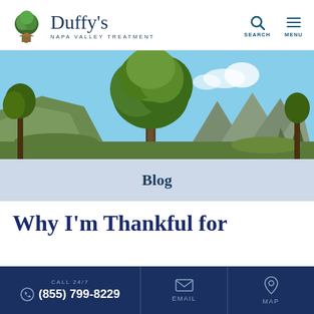Duffy's NAPA VALLEY TREATMENT
[Figure (photo): Outdoor panoramic photo of a large tree in the foreground with green hills and mountains in the background under a blue sky]
Blog
Why I'm Thankful for
CALL 24/7 (855) 799-8229 EMAIL MAP